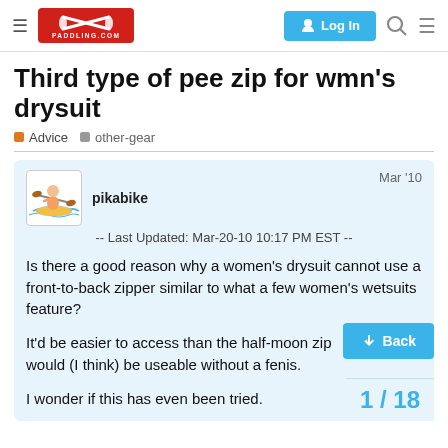PADDLING.COM — Log In
Third type of pee zip for wmn's drysuit
Advice  other-gear
pikabike  Mar '10
-- Last Updated: Mar-20-10 10:17 PM EST --
Is there a good reason why a women's drysuit cannot use a front-to-back zipper similar to what a few women's wetsuits feature?
It'd be easier to access than the half-moon zip and it would (I think) be useable without a fenis.
I wonder if this has even been tried.